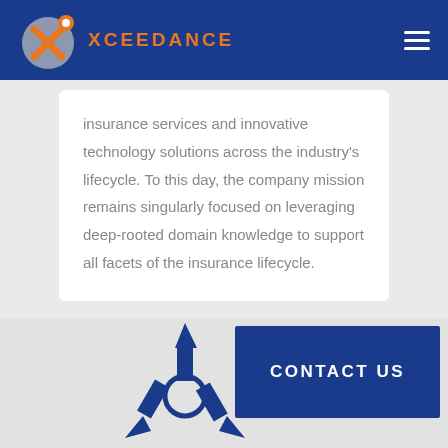[Figure (logo): Xceedance company logo with orange and gray circular icon and orange brand name text on dark blue header]
insurance services and innovative technology solutions across the industry's lifecycle. To this day, the company mission remains singularly focused on leveraging deep-rooted domain knowledge to support all facets of the insurance lifecycle.
CONTACT US
[Figure (illustration): Blue arrows pointing in multiple directions (up, left-down, right-down) forming a directional diagram icon, partially visible at the bottom of the page]